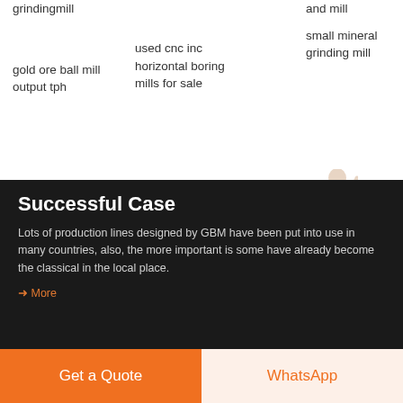grindingmill
and mill
small mineral grinding mill
gold ore ball mill output tph
used cnc inc horizontal boring mills for sale
Successful Case
Lots of production lines designed by GBM have been put into use in many countries, also, the more important is some have already become the classical in the local place.
→ More
Solutions
→ Coal Powder Processing
→ Lime Industry
→ Petroleum Coke Processing
→ Ground Calcium Carbonate Processing
Get a Quote
WhatsApp